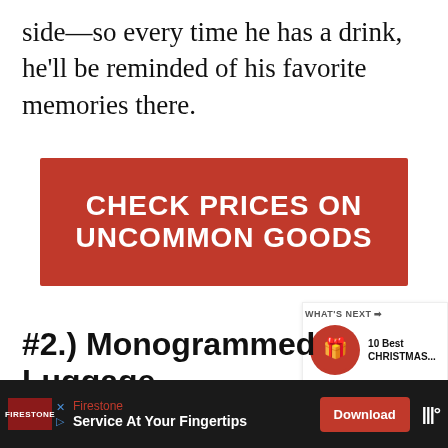side—so every time he has a drink, he'll be reminded of his favorite memories there.
[Figure (other): Red CTA button reading CHECK PRICES ON UNCOMMON GOODS]
[Figure (other): Social sidebar with heart/like button showing count 1 and share button]
[Figure (other): What's Next panel showing 10 Best CHRISTMAS... with gift image]
#2.) Monogrammed Luggage-
[Figure (other): Advertisement banner: Firestone - Service At Your Fingertips - Download button]